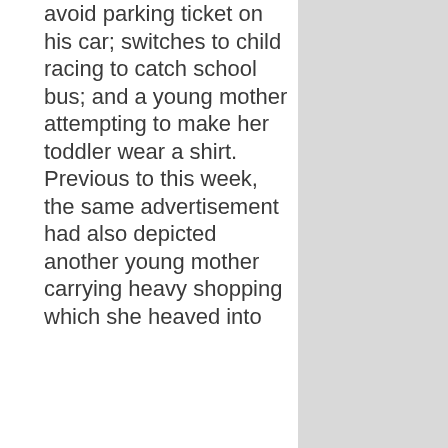avoid parking ticket on his car; switches to child racing to catch school bus; and a young mother attempting to make her toddler wear a shirt. Previous to this week, the same advertisement had also depicted another young mother carrying heavy shopping which she heaved into